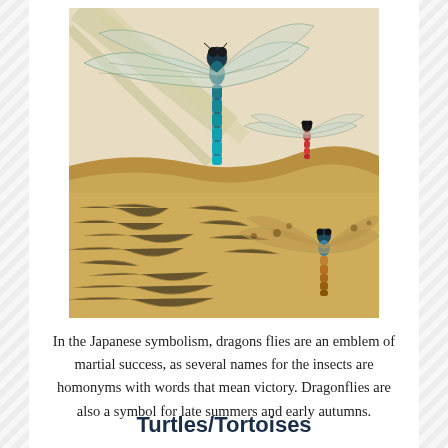[Figure (illustration): Painting of three dragonflies: a large teal/blue dragonfly in the foreground, a smaller dragonfly with red body in the middle ground, and a brown/amber dragonfly at lower right. Background has beige/cream textured upper half and sandy/golden lower half with fossilized leaf textures.]
In the Japanese symbolism, dragons flies are an emblem of martial success, as several names for the insects are homonyms with words that mean victory. Dragonflies are also a symbol for late summers and early autumns.
Turtles/Tortoises